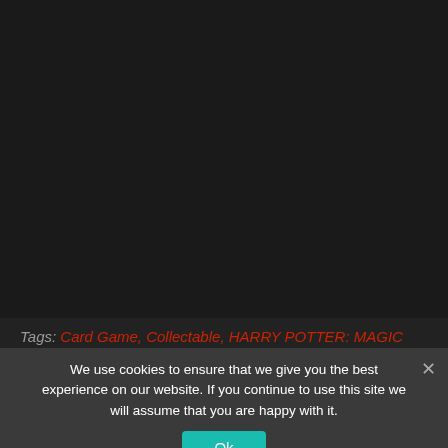Tags: Card Game, Collectable, HARRY POTTER: MAGIC
We use cookies to ensure that we give you the best experience on our website. If you continue to use this site we will assume that you are happy with it.
Ok